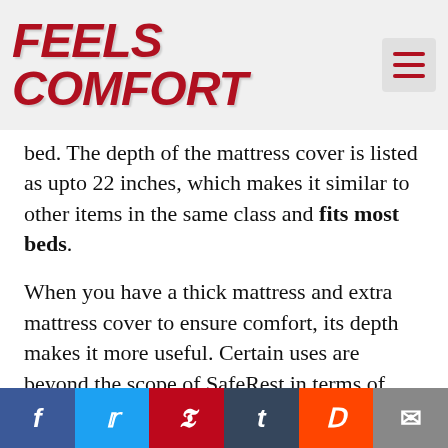Feels Comfort
bed. The depth of the mattress cover is listed as upto 22 inches, which makes it similar to other items in the same class and fits most beds.
When you have a thick mattress and extra mattress cover to ensure comfort, its depth makes it more useful. Certain uses are beyond the scope of SafeRest in terms of terminology or fitting your mattress.
Facebook Twitter Pinterest Tumblr Reddit Email